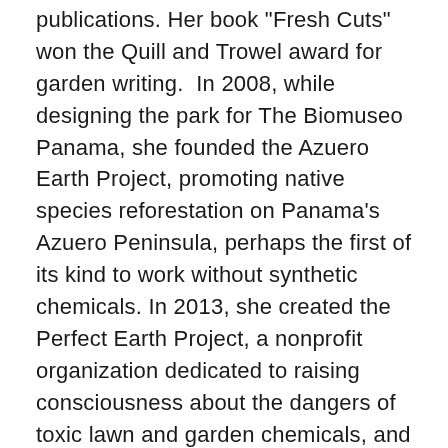publications. Her book "Fresh Cuts" won the Quill and Trowel award for garden writing.  In 2008, while designing the park for The Biomuseo Panama, she founded the Azuero Earth Project, promoting native species reforestation on Panama's Azuero Peninsula, perhaps the first of its kind to work without synthetic chemicals. In 2013, she created the Perfect Earth Project, a nonprofit organization dedicated to raising consciousness about the dangers of toxic lawn and garden chemicals, and the importance of planting native species, to protect the health of people, their pets, and the planet.  In 2021 she launched a new initiative, Two Thirds for the Birds, a call to action to landscape and environmental professionals to make all their projects habitat friendly. She is currently converting her own property, Marshouse, into a laboratory and teaching center for Whole and Healthy landscape practices.